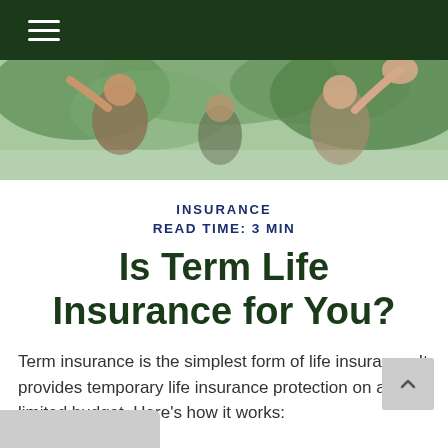Navigation header with hamburger menu
[Figure (photo): Outdoor photo of people with raised arms against green foliage background]
INSURANCE
READ TIME: 3 MIN
Is Term Life Insurance for You?
Term insurance is the simplest form of life insurance. It provides temporary life insurance protection on a limited budget. Here’s how it works: